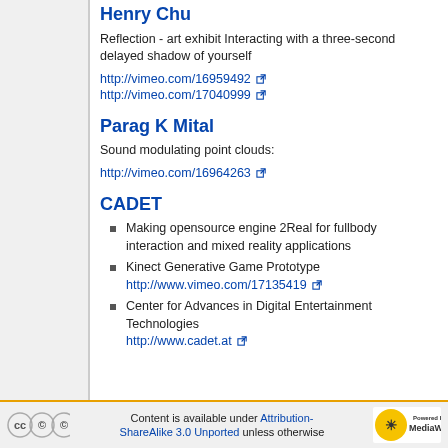Henry Chu
Reflection - art exhibit Interacting with a three-second delayed shadow of yourself
http://vimeo.com/16959492
http://vimeo.com/17040999
Parag K Mital
Sound modulating point clouds:
http://vimeo.com/16964263
CADET
Making opensource engine 2Real for fullbody interaction and mixed reality applications
Kinect Generative Game Prototype http://www.vimeo.com/17135419
Center for Advances in Digital Entertainment Technologies http://www.cadet.at
Content is available under Attribution-ShareAlike 3.0 Unported unless otherwise